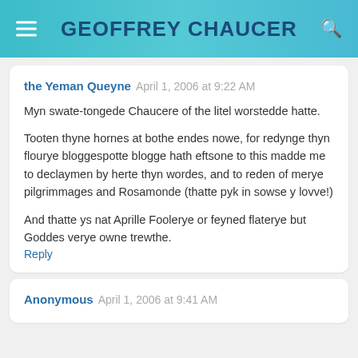GEOFFREY CHAUCER
the Yeman Queyne  April 1, 2006 at 9:22 AM
Myn swate-tongede Chaucere of the litel worstedde hatte.

Tooten thyne hornes at bothe endes nowe, for redynge thyn flourye bloggespotte blogge hath eftsone to this madde me to declaymen by herte thyn wordes, and to reden of merye pilgrimmages and Rosamonde (thatte pyk in sowse y lovve!)

And thatte ys nat Aprille Foolerye or feyned flaterye but Goddes verye owne trewthe.
Reply
Anonymous  April 1, 2006 at 9:41 AM